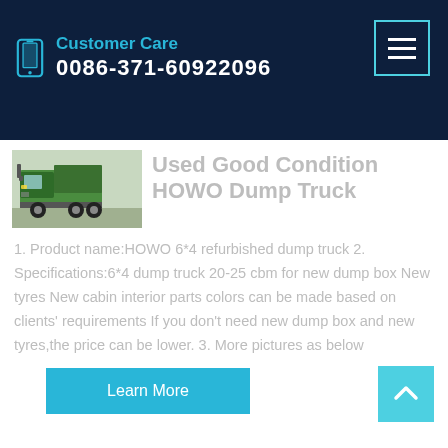Customer Care 0086-371-60922096
Used Good Condition HOWO Dump Truck
1. Product name:HOWO 6*4 refurbished dump truck 2. Specifications:6*4 dump truck 20-25 cbm for new dump box New tyres New cabin interior parts colors can be made based on clients' requirements If you don't need new dump box and new tyres,the price can be lower. 3. More pictures as below
[Figure (photo): Photo of a green HOWO dump truck]
Learn More